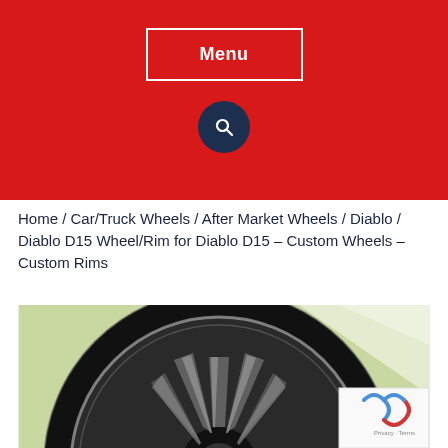Menu
Home / Car/Truck Wheels / After Market Wheels / Diablo / Diablo D15 Wheel/Rim for Diablo D15 – Custom Wheels – Custom Rims
[Figure (photo): Close-up photo of a black multi-spoke alloy wheel/rim (Diablo D15) with chrome accents, against a green and white background with reCAPTCHA badge overlay in bottom right corner.]